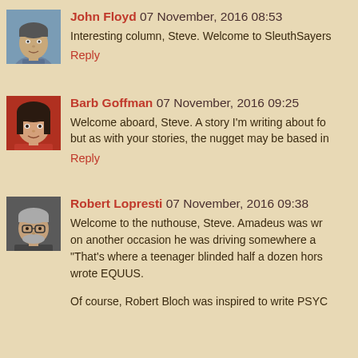John Floyd 07 November, 2016 08:53
Interesting column, Steve. Welcome to SleuthSayers
Reply
Barb Goffman 07 November, 2016 09:25
Welcome aboard, Steve. A story I'm writing about fo but as with your stories, the nugget may be based in
Reply
Robert Lopresti 07 November, 2016 09:38
Welcome to the nuthouse, Steve. Amadeus was wr on another occasion he was driving somewhere a "That's where a teenager blinded half a dozen hors wrote EQUUS.
Of course, Robert Bloch was inspired to write PSYC